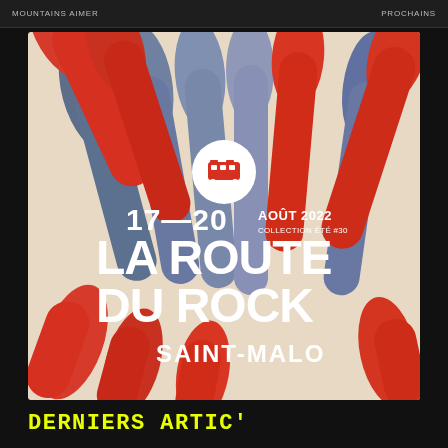MOUNTAINS AIMER / PROCHAINS
[Figure (illustration): Festival poster for La Route du Rock, Saint-Malo. Features stylized hands with red and blue/grey fingers on a beige background. Text reads: 17—20 AOÛT 2022 COLLECTION ÉTÉ #30 LA ROUTE DU ROCK SAINT-MALO, with a small red bus/icon logo.]
DERNIERS ARTIC'